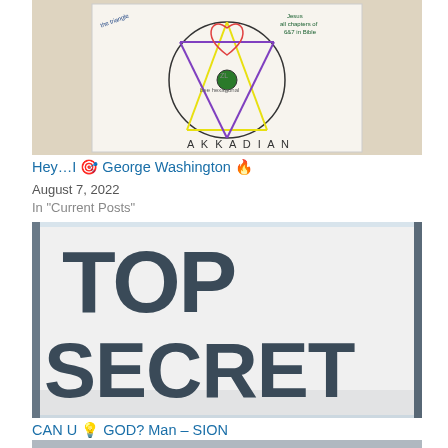[Figure (photo): Hand-drawn circular diagram with triangles, colored lines, and text reading 'AKKADIAN' at the bottom, along with other handwritten notes including 'Jesus all chapters of 6&7 in Bible']
Hey…I 🎯 George Washington 🔥
August 7, 2022
In "Current Posts"
[Figure (photo): Photo of a document or folder labeled 'TOP SECRET' in large bold dark letters on a white background]
CAN U 💡 GOD? Man – SION
July 30, 2022
In "Current Posts"
[Figure (photo): Partial image at the bottom of the page, mostly cut off]